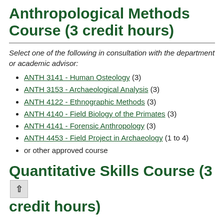Anthropological Methods Course (3 credit hours)
Select one of the following in consultation with the department or academic advisor:
ANTH 3141 - Human Osteology (3)
ANTH 3153 - Archaeological Analysis (3)
ANTH 4122 - Ethnographic Methods (3)
ANTH 4140 - Field Biology of the Primates (3)
ANTH 4141 - Forensic Anthropology (3)
ANTH 4453 - Field Project in Archaeology (1 to 4)
or other approved course
Quantitative Skills Course (3 credit hours)